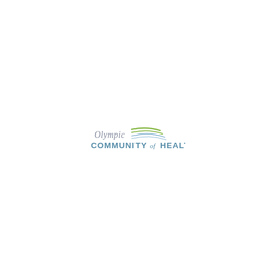[Figure (logo): Olympic Community of Health logo: italic script 'Olympic' in gray above stylized speed-line swooshes in green and blue-gray, with 'COMMUNITY of HEALTH' in bold blue-gray capitals below]